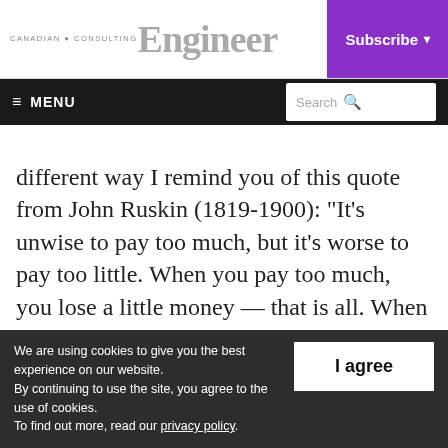Canadian Consulting Engineer | Subscribe
≡ MENU | Search
different way I remind you of this quote from John Ruskin (1819-1900): “It’s unwise to pay too much, but it’s worse to pay too little. When you pay too much, you lose a little money — that is all. When you pay too little, you sometimes lose everything, because the thing
We are using cookies to give you the best experience on our website.
By continuing to use the site, you agree to the use of cookies.
To find out more, read our privacy policy.